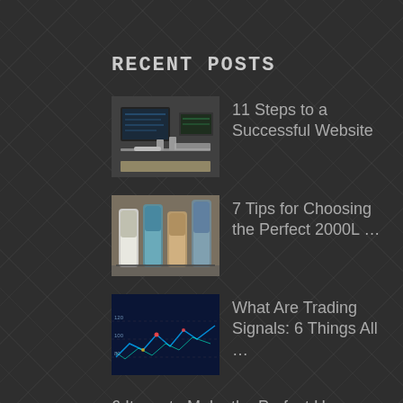RECENT POSTS
11 Steps to a Successful Website
7 Tips for Choosing the Perfect 2000L …
What Are Trading Signals: 6 Things All …
6 Items to Make the Perfect Hamper …
5 Secrets To